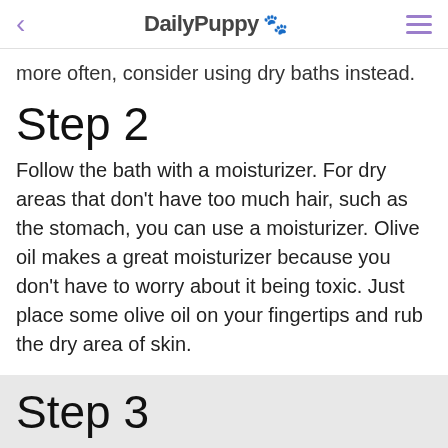< DailyPuppy 🐾 ☰
more often, consider using dry baths instead.
Step 2
Follow the bath with a moisturizer. For dry areas that don't have too much hair, such as the stomach, you can use a moisturizer. Olive oil makes a great moisturizer because you don't have to worry about it being toxic. Just place some olive oil on your fingertips and rub the dry area of skin.
Step 3